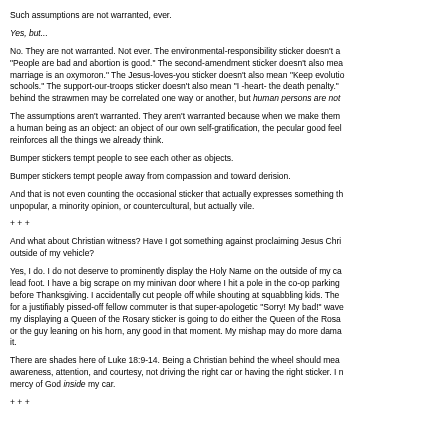Such assumptions are not warranted, ever.
Yes, but...
No. They are not warranted. Not ever. The environmental-responsibility sticker doesn't also mean "People are bad and abortion is good." The second-amendment sticker doesn't also mean "Gay marriage is an oxymoron." The Jesus-loves-you sticker doesn't also mean "Keep evolution out of schools." The support-our-troops sticker doesn't also mean "I -heart- the death penalty." The positions behind the strawmen may be correlated one way or another, but human persons are not strawmen.
The assumptions aren't warranted. They aren't warranted because when we make them we are treating a human being as an object: an object of our own self-gratification, the pecular good feeling that reinforces all the things we already think.
Bumper stickers tempt people to see each other as objects.
Bumper stickers tempt people away from compassion and toward derision.
And that is not even counting the occasional sticker that actually expresses something that is not merely unpopular, a minority opinion, or countercultural, but actually vile.
+ + +
And what about Christian witness? Have I got something against proclaiming Jesus Christ on the outside of my vehicle?
Yes, I do. I do not deserve to prominently display the Holy Name on the outside of my car. I have a lead foot. I have a big scrape on my minivan door where I hit a pole in the co-op parking lot the week before Thanksgiving. I accidentally cut people off while shouting at squabbling kids. The best I can offer for a justifiably pissed-off fellow commuter is that super-apologetic "Sorry! My bad!" wave. I don't think my displaying a Queen of the Rosary sticker is going to do either the Queen of the Rosary, or God, or the guy leaning on his horn, any good in that moment. My mishap may do more damage than good for it.
There are shades here of Luke 18:9-14. Being a Christian behind the wheel should mean heightened awareness, attention, and courtesy, not driving the right car or having the right sticker. I need God's mercy of God inside my car.
+ + +